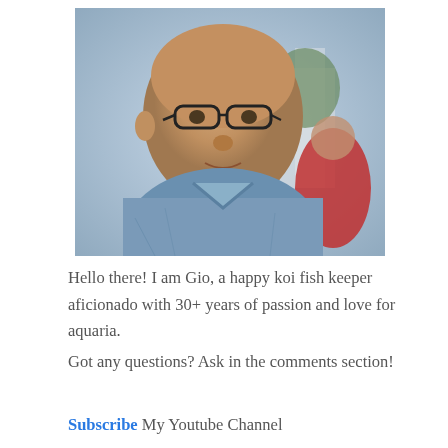[Figure (photo): Close-up photo of a man wearing glasses and a blue denim jacket, with another person in a red shirt visible in the background]
Hello there! I am Gio, a happy koi fish keeper aficionado with 30+ years of passion and love for aquaria.
Got any questions? Ask in the comments section!
Subscribe My Youtube Channel